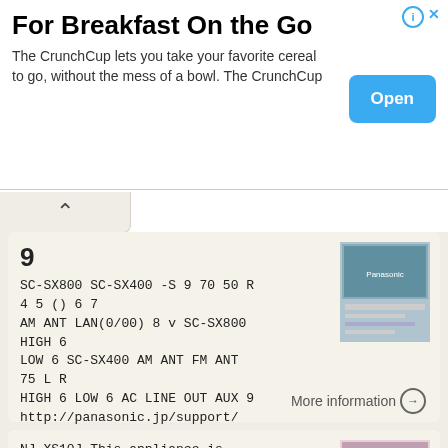[Figure (screenshot): Advertisement banner for CrunchCup breakfast product with title 'For Breakfast On the Go', description text, and Open button]
9
SC-SX800 SC-SX400 -S 9 70 50 R 4 5 () 6 7 AM ANT LAN(0/00) 8 v SC-SX800 HIGH 6 LOW 6 SC-SX400 AM ANT FM ANT 75 L R HIGH 6 LOW 6 AC LINE OUT AUX 9 http://panasonic.jp/support/ audio/mini/ 0 LAN(0/00) /
More information →
NJ-XS10J This appliance is designed for use in Japan only and can not be used in any other country. No servicing is available outside of Japan. a a a a a ba a a a a a a a a 1 2 1 2 3 4 1 2 3 3 4 1